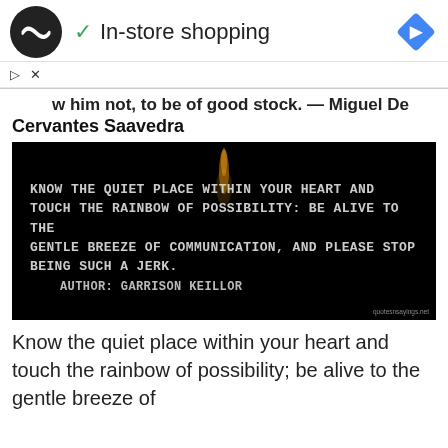In-store shopping
w him not, to be of good stock. — Miguel De Cervantes Saavedra
[Figure (photo): Dark background image with a quote in white monospace text: 'KNOW THE QUIET PLACE WITHIN YOUR HEART AND TOUCH THE RAINBOW OF POSSIBILITY: BE ALIVE TO THE GENTLE BREEZE OF COMMUNICATION, AND PLEASE STOP BEING SUCH A JERK. AUTHOR: GARRISON KEILLOR'. A faint candle flame is visible at the top center. Watermark: quotesnsayings.net]
Know the quiet place within your heart and touch the rainbow of possibility; be alive to the gentle breeze of